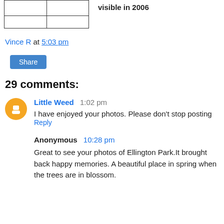|  |  |
|  |  |
visible in 2006
Vince R at 5:03 pm
Share
29 comments:
Little Weed  1:02 pm
I have enjoyed your photos. Please don't stop posting
Reply
Anonymous  10:28 pm
Great to see your photos of Ellington Park.It brought back happy memories. A beautiful place in spring when the trees are in blossom.